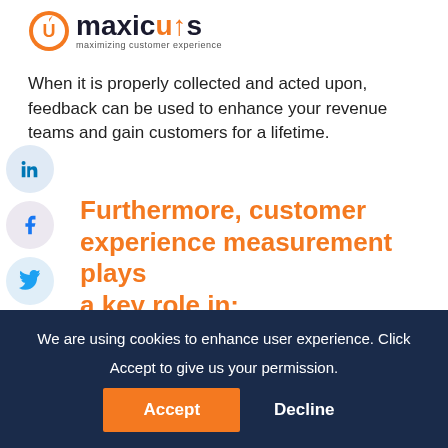[Figure (logo): Maxicus logo with orange icon and tagline 'maximizing customer experience']
When it is properly collected and acted upon, feedback can be used to enhance your revenue teams and gain customers for a lifetime.
Furthermore, customer experience measurement plays a key role in:
Boosting sales enhancement
Defining company priorities
Building a customer-centric culture
To su...
Learning how to...us experience can reveal where your company is succeeding and where...
We are using cookies to enhance user experience. Click Accept to give us your permission.